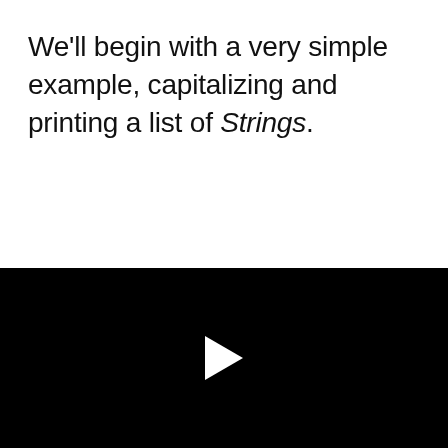We'll begin with a very simple example, capitalizing and printing a list of Strings.
[Figure (other): Black video player area with a white play button triangle in the center]